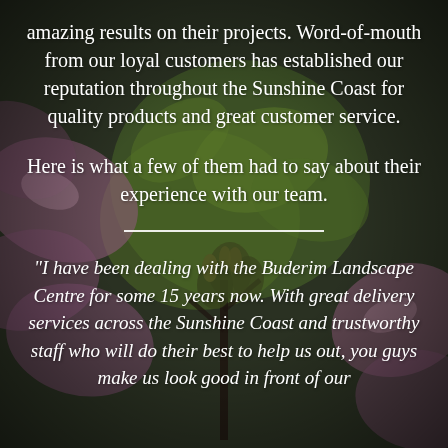[Figure (photo): Dark background photo of flowering plant/magnolia buds with purple-pink petals and green foliage, dimmed/darkened for text overlay]
amazing results on their projects. Word-of-mouth from our loyal customers has established our reputation throughout the Sunshine Coast for quality products and great customer service.
Here is what a few of them had to say about their experience with our team.
"I have been dealing with the Buderim Landscape Centre for some 15 years now. With great delivery services across the Sunshine Coast and trustworthy staff who will do their best to help us out, you guys make us look good in front of our